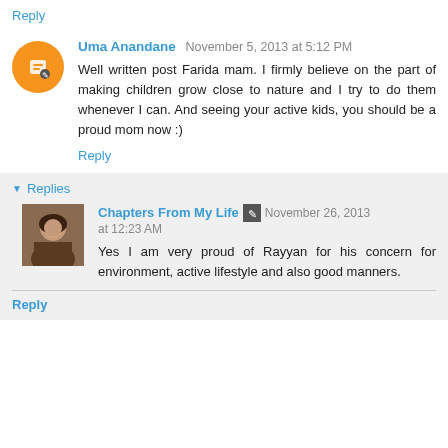Reply
Uma Anandane  November 5, 2013 at 5:12 PM
Well written post Farida mam. I firmly believe on the part of making children grow close to nature and I try to do them whenever I can. And seeing your active kids, you should be a proud mom now :)
Reply
Replies
Chapters From My Life  November 26, 2013 at 12:23 AM
Yes I am very proud of Rayyan for his concern for environment, active lifestyle and also good manners.
Reply